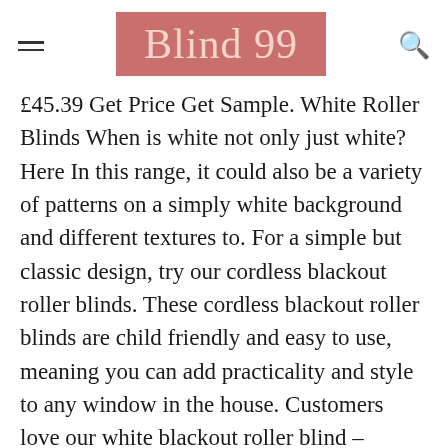Blind 99
£45.39 Get Price Get Sample. White Roller Blinds When is white not only just white? Here In this range, it could also be a variety of patterns on a simply white background and different textures to. For a simple but classic design, try our cordless blackout roller blinds. These cordless blackout roller blinds are child friendly and easy to use, meaning you can add practicality and style to any window in the house. Customers love our white blackout roller blind – available in a variety of widths and its matt finish suiting any decor. Blackout blinds are designed to completely block